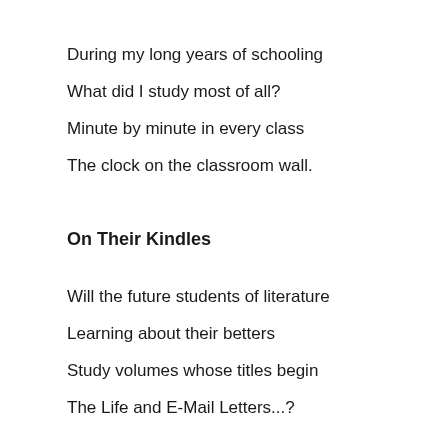During my long years of schooling
What did I study most of all?
Minute by minute in every class
The clock on the classroom wall.
On Their Kindles
Will the future students of literature
Learning about their betters
Study volumes whose titles begin
The Life and E-Mail Letters...?
On Optimism
Oh, obstinate is all human hope
Upon this dismal earth.